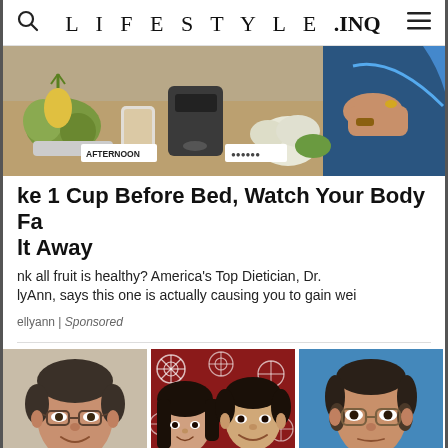LIFESTYLE.INQ
[Figure (photo): Food and kitchen items on a table, with an AFTERNOON label visible, partially cropped]
ke 1 Cup Before Bed, Watch Your Body Fa lt Away
nk all fruit is healthy? America's Top Dietician, Dr. lyAnn, says this one is actually causing you to gain wei
ellyann | Sponsored
[Figure (photo): Three side-by-side photos: a middle-aged man with glasses smiling, a young couple in front of a floral background, and an older man with glasses in front of a blue background]